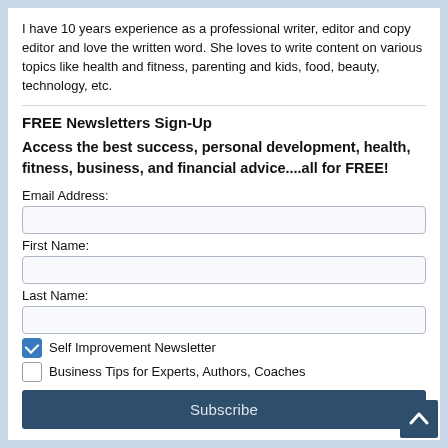I have 10 years experience as a professional writer, editor and copy editor and love the written word. She loves to write content on various topics like health and fitness, parenting and kids, food, beauty, technology, etc.
FREE Newsletters Sign-Up
Access the best success, personal development, health, fitness, business, and financial advice....all for FREE!
Email Address:
First Name:
Last Name:
Self Improvement Newsletter
Business Tips for Experts, Authors, Coaches
Subscribe